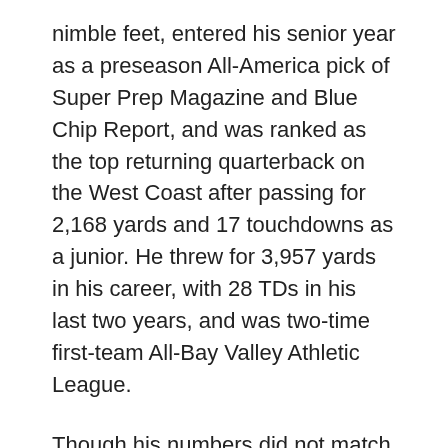nimble feet, entered his senior year as a preseason All-America pick of Super Prep Magazine and Blue Chip Report, and was ranked as the top returning quarterback on the West Coast after passing for 2,168 yards and 17 touchdowns as a junior. He threw for 3,957 yards in his career, with 28 TDs in his last two years, and was two-time first-team All-Bay Valley Athletic League.
Though his numbers did not match the output from his junior season, Mark nonetheless was named the Panthers' MVP and received the Ron Pritchard Award as the team's Most Outstanding Back. He was an Honorable Mention selection on the All-East Bay Team, and the Contra Costa Times selected him the No. 2 prospect in its annual Cream of the Crop. Butterfield had already committed to Stanford by that